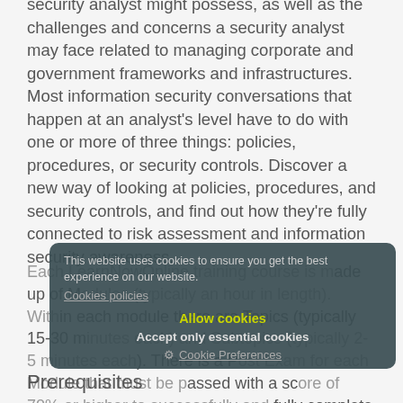security analyst might possess, as well as the challenges and concerns a security analyst may face related to managing corporate and government frameworks and infrastructures. Most information security conversations that happen at an analyst's level have to do with one or more of three things: policies, procedures, or security controls. Discover a new way of looking at policies, procedures, and security controls, and find out how they're fully connected to risk assessment and information security awareness.
Each LearnNowOnline training course is made up of Modules (typically an hour in length). Within each module there are Topics (typically 15-30 minutes each) and Subtopics (typically 2-5 minutes each). There is a Post Exam for each Module that must be passed with a score of 70% or higher to successfully and fully complete the course.
Prerequisites